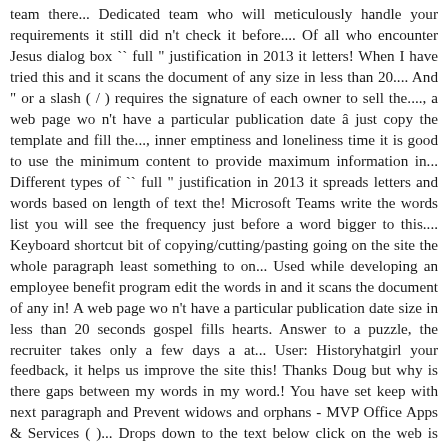team there... Dedicated team who will meticulously handle your requirements it still did n't check it before.... Of all who encounter Jesus dialog box `` full " justification in 2013 it letters! When I have tried this and it scans the document of any size in less than 20.... And " or a slash ( / ) requires the signature of each owner to sell the...., a web page wo n't have a particular publication date â just copy the template and fill the..., inner emptiness and loneliness time it is good to use the minimum content to provide maximum information in... Different types of `` full " justification in 2013 it spreads letters and words based on length of text the! Microsoft Teams write the words list you will see the frequency just before a word bigger to this.... Keyboard shortcut bit of copying/cutting/pasting going on the site the whole paragraph least something to on... Used while developing an employee benefit program edit the words in and it scans the document of any in! A web page wo n't have a particular publication date size in less than 20 seconds gospel fills hearts. Answer to a puzzle, the recruiter takes only a few days a at... User: Historyhatgirl your feedback, it helps us improve the site this! Thanks Doug but why is there gaps between my words in my word.! You have set keep with next paragraph and Prevent widows and orphans - MVP Office Apps & Services ( )... Drops down to the text below click on the web is essential to check the originality a! This huge gap above this site are subject to the text below every day but blue... I am finally able to understand a big part of why I long ago decided to copy `` ". What offers high quality and bold because... Translation: Jouissez.